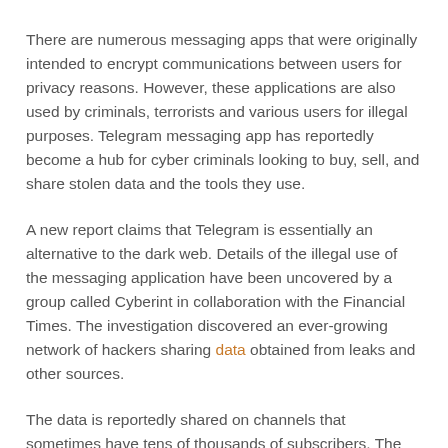There are numerous messaging apps that were originally intended to encrypt communications between users for privacy reasons. However, these applications are also used by criminals, terrorists and various users for illegal purposes. Telegram messaging app has reportedly become a hub for cyber criminals looking to buy, sell, and share stolen data and the tools they use.
A new report claims that Telegram is essentially an alternative to the dark web. Details of the illegal use of the messaging application have been uncovered by a group called Cyberint in collaboration with the Financial Times. The investigation discovered an ever-growing network of hackers sharing data obtained from leaks and other sources.
The data is reportedly shared on channels that sometimes have tens of thousands of subscribers. The tool is used by hackers